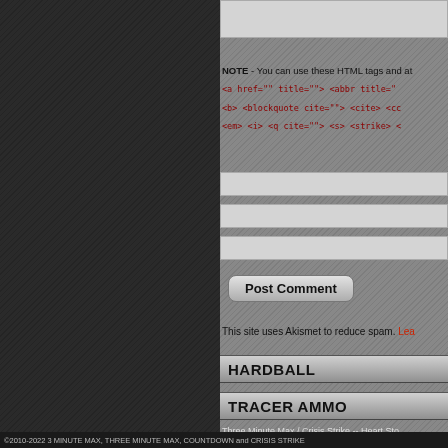[Figure (screenshot): Top input text field (partially visible), light grey background]
NOTE - You can use these HTML tags and at
<a href="" title=""> <abbr title="
<b> <blockquote cite=""> <cite> <cc
<em> <i> <q cite=""> <s> <strike> <
[Figure (screenshot): Three form input fields (Name, Email, Website) shown as grey rectangles]
[Figure (screenshot): Post Comment button with rounded corners]
This site uses Akismet to reduce spam. Lea
HARDBALL
TRACER AMMO
Three Minute Max / Crisis Strike -- Heart Sto
- art by Max Forward; 3mm; 3mmcomic; 3mi
three minute max; crisis strike; countdown co
Max Forward; Bob Forward; Detonation Film
©2010-2022 3 MINUTE MAX, THREE MINUTE MAX, COUNTDOWN and CRISIS STRIKE